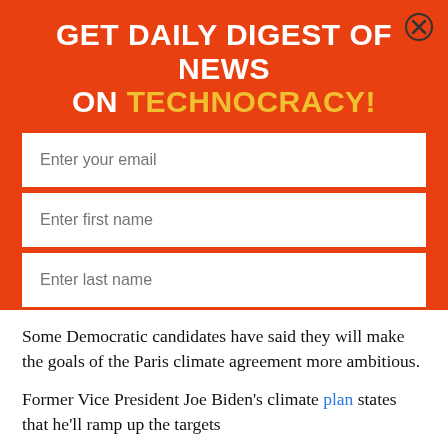GET DAILY DIGEST OF NEWS ON TECHNOCRACY!
[Figure (screenshot): Email subscription form with fields for email, first name, last name and a Subscribe button]
Some Democratic candidates have said they will make the goals of the Paris climate agreement more ambitious.
Former Vice President Joe Biden's climate plan states that he'll ramp up the targets